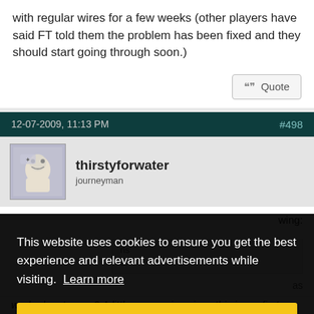with regular wires for a few weeks (other players have said FT told them the problem has been fixed and they should start going through soon.)
Quote
12-07-2009, 11:13 PM
#498
thirstyforwater
journeyman
wing:
ns a.
as
worked up to now? A little concerning since this is my first
This website uses cookies to ensure you get the best experience and relevant advertisements while visiting. Learn more
Got it!